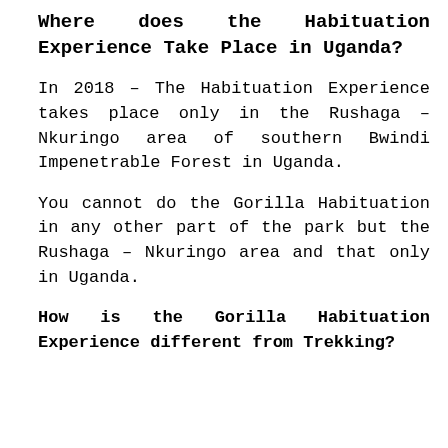Where does the Habituation Experience Take Place in Uganda?
In 2018 – The Habituation Experience takes place only in the Rushaga – Nkuringo area of southern Bwindi Impenetrable Forest in Uganda.
You cannot do the Gorilla Habituation in any other part of the park but the Rushaga – Nkuringo area and that only in Uganda.
How is the Gorilla Habituation Experience different from Trekking?